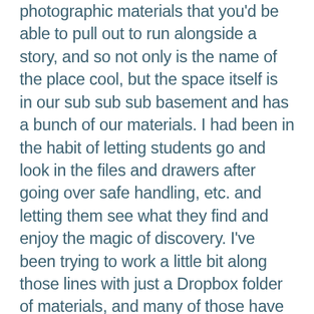photographic materials that you'd be able to pull out to run alongside a story, and so not only is the name of the place cool, but the space itself is in our sub sub sub basement and has a bunch of our materials. I had been in the habit of letting students go and look in the files and drawers after going over safe handling, etc. and letting them see what they find and enjoy the magic of discovery. I've been trying to work a little bit along those lines with just a Dropbox folder of materials, and many of those have been selected to, as you say, place the students in a lineage of antiracist activism, etc. Here's a folder, take some time in breakout rooms to see what's in there, and show us what you find. Show and tell never gets old.